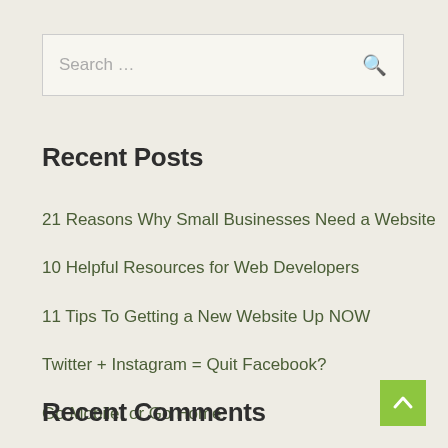Search …
Recent Posts
21 Reasons Why Small Businesses Need a Website
10 Helpful Resources for Web Developers
11 Tips To Getting a New Website Up NOW
Twitter + Instagram = Quit Facebook?
Go Mobile, or Go Home
Recent Comments